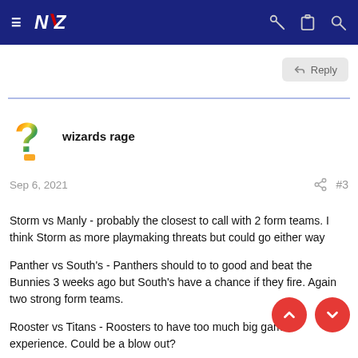NZ Rugby League forum header with hamburger menu, NZ logo, key icon, clipboard icon, search icon
Reply
wizards rage
Sep 6, 2021  #3
Storm vs Manly - probably the closest to call with 2 form teams. I think Storm as more playmaking threats but could go either way

Panther vs South's - Panthers should to to good and beat the Bunnies 3 weeks ago but South's have a chance if they fire. Again two strong form teams.

Rooster vs Titans - Roosters to have too much big game experience. Could be a blow out?

Eels vs Knights - who wants it [???]? - Eels were a top 4 team and an